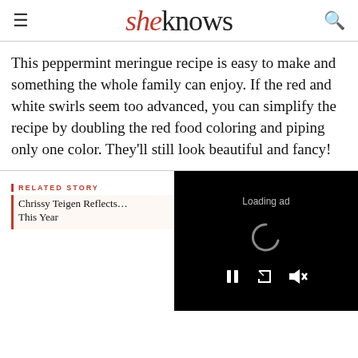sheknows
This peppermint meringue recipe is easy to make and something the whole family can enjoy. If the red and white swirls seem too advanced, you can simplify the recipe by doubling the red food coloring and piping only one color. They'll still look beautiful and fancy!
RELATED STORY
Chrissy Teigen Reflects… This Year
[Figure (screenshot): Video player overlay showing 'Loading ad' text, a loading spinner, and playback controls (pause, fullscreen, mute) on a black background.]